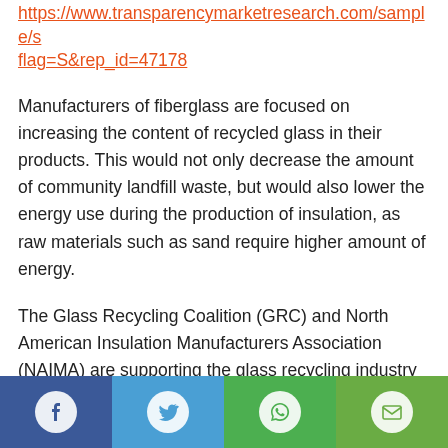https://www.transparencymarketresearch.com/sample/s flag=S&rep_id=47178
Manufacturers of fiberglass are focused on increasing the content of recycled glass in their products. This would not only decrease the amount of community landfill waste, but would also lower the energy use during the production of insulation, as raw materials such as sand require higher amount of energy.
The Glass Recycling Coalition (GRC) and North American Insulation Manufacturers Association (NAIMA) are supporting the glass recycling industry as well as the entire glass recycling supply chain for fiberglass insulation. The factors mentioned above indicate that rise